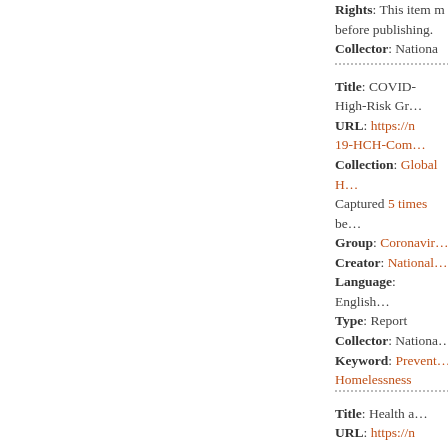Rights: This item must be reviewed before publishing.
Collector: Nationa…
Title: COVID-… High-Risk Gr…
URL: https://n… 19-HCH-Com…
Collection: Global H… Captured 5 times be…
Group: Coronavir…
Creator: National…
Language: English…
Type: Report
Collector: Nationa…
Keyword: Prevent… Homelessness
Title: Health a…
URL: https://n… content/uploa… dHardship.p…
Collection: Septem…